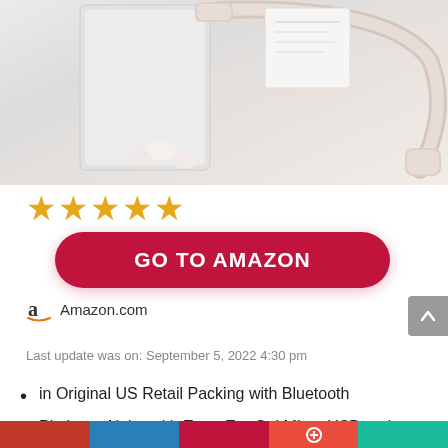[Figure (photo): Product photo of gold/champagne colored Bluetooth neckband headphones with carrying case box]
[Figure (other): Five orange/gold star rating icons]
GO TO AMAZON
[Figure (logo): Amazon 'a' logo icon]
Amazon.com
Last update was on: September 5, 2022 4:30 pm
in Original US Retail Packing with Bluetooth
Platinum Alpha with Extra Ear Gel Micro USB and